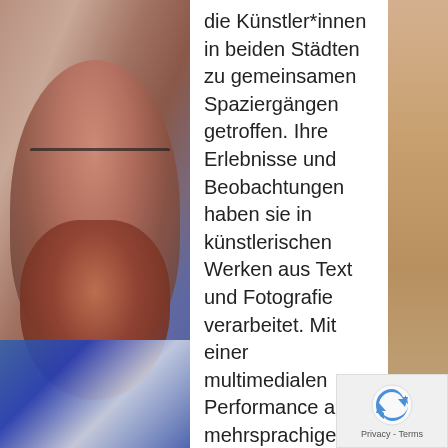[Figure (photo): Left side: photo of a bearded man with glasses wearing a patterned shirt, warm tones, partially cropped. Right side: partial photo with warm/orange tones, person visible at edge.]
die Künstler*innen in beiden Städten zu gemeinsamen Spaziergängen getroffen. Ihre Erlebnisse und Beobachtungen haben sie in künstlerischen Werken aus Text und Fotografie verarbeitet. Mit einer multimedialen Performance aus mehrsprachiger Dichtung und Prosa, Musik und Fotografie drücken die Künstler*innen aus, wie sie den Einfluss von Gentrifizierung auf die Großstädte Berlin und
[Figure (logo): reCAPTCHA badge with Privacy and Terms links in bottom right corner]